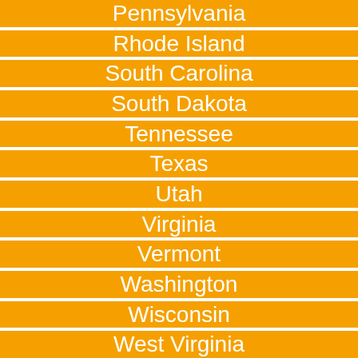Pennsylvania
Rhode Island
South Carolina
South Dakota
Tennessee
Texas
Utah
Virginia
Vermont
Washington
Wisconsin
West Virginia